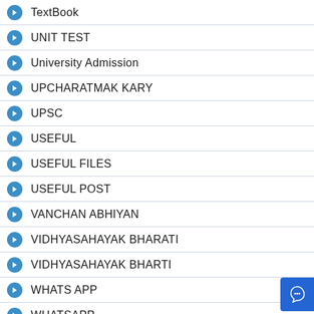TextBook
UNIT TEST
University Admission
UPCHARATMAK KARY
UPSC
USEFUL
USEFUL FILES
USEFUL POST
VANCHAN ABHIYAN
VIDHYASAHAYAK BHARATI
VIDHYASAHAYAK BHARTI
WHATS APP
WHATSAPP